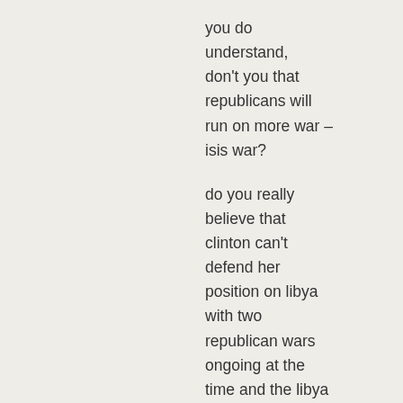you do understand, don't you that republicans will run on more war – isis war?

do you really believe that clinton can't defend her position on libya with two republican wars ongoing at the time and the libya